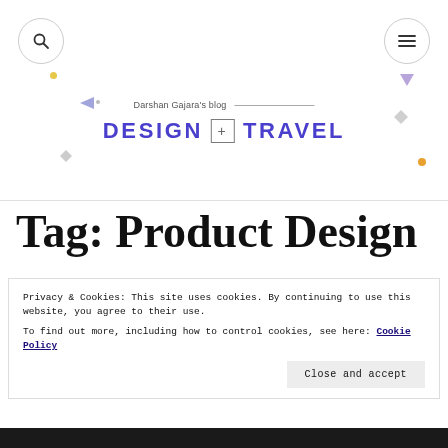[Figure (screenshot): Blog website header with search icon button on left, hamburger menu icon button on right, decorative geometric shapes, blog subtitle 'Darshan Gajara's blog' with line, and main blog title 'DESIGN + TRAVEL' in purple]
Tag: Product Design
Privacy & Cookies: This site uses cookies. By continuing to use this website, you agree to their use.
To find out more, including how to control cookies, see here: Cookie Policy
Close and accept